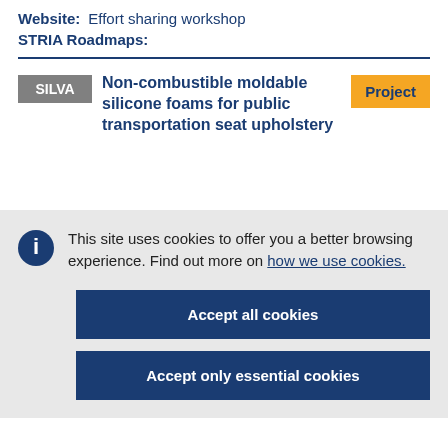Website: Effort sharing workshop
STRIA Roadmaps:
SILVA — Non-combustible moldable silicone foams for public transportation seat upholstery — Project
This site uses cookies to offer you a better browsing experience. Find out more on how we use cookies.
Accept all cookies
Accept only essential cookies